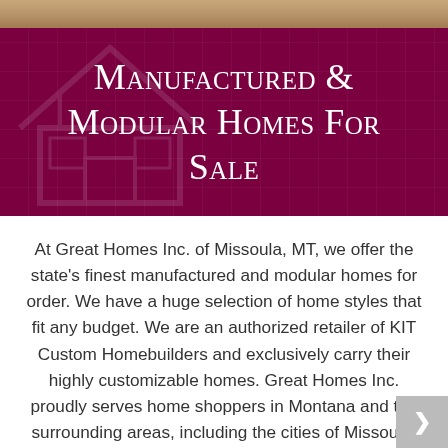[Figure (photo): Narrow horizontal strip of wooden flooring visible at the top of the page]
Manufactured & Modular Homes For Sale
At Great Homes Inc. of Missoula, MT, we offer the state's finest manufactured and modular homes for order. We have a huge selection of home styles that fit any budget. We are an authorized retailer of KIT Custom Homebuilders and exclusively carry their highly customizable homes. Great Homes Inc. proudly serves home shoppers in Montana and the surrounding areas, including the cities of Missoula, Hamilton, Polson, Thompson Falls, Superior, Seeley Lake, Drummond, Philipsburg, and many more.